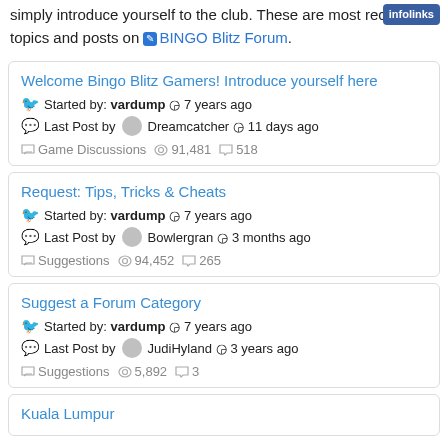simply introduce yourself to the club. These are most recent topics and posts on BINGO Blitz Forum.
Welcome Bingo Blitz Gamers! Introduce yourself here — Started by: vardump 7 years ago — Last Post by Dreamcatcher 11 days ago — Game Discussions, 91,481 views, 518 comments
Request: Tips, Tricks & Cheats — Started by: vardump 7 years ago — Last Post by Bowlergran 3 months ago — Suggestions, 94,452 views, 265 comments
Suggest a Forum Category — Started by: vardump 7 years ago — Last Post by JudiHyland 3 years ago — Suggestions, 5,892 views, 3 comments
Kuala Lumpur